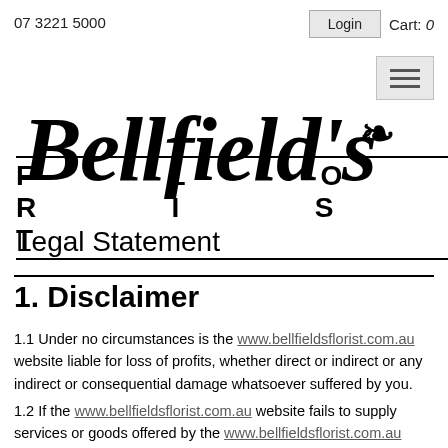07 3221 5000
Login  Cart: 0
[Figure (logo): Bellfield's Florist logo with italic script text and a rose symbol above, with FLORIST in spaced capitals below, bordered by double lines]
Legal Statement
1. Disclaimer
1.1 Under no circumstances is the www.bellfieldsflorist.com.au website liable for loss of profits, whether direct or indirect or any indirect or consequential damage whatsoever suffered by you.
1.2 If the www.bellfieldsflorist.com.au website fails to supply services or goods offered by the www.bellfieldsflorist.com.au website, the